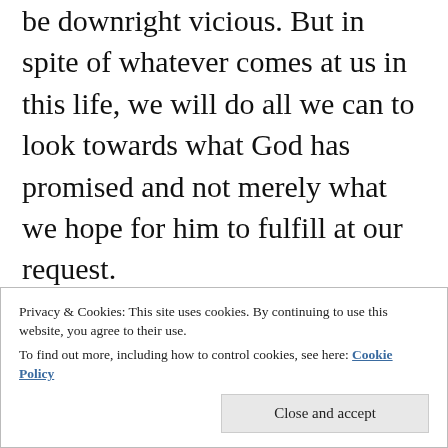be downright vicious. But in spite of whatever comes at us in this life, we will do all we can to look towards what God has promised and not merely what we hope for him to fulfill at our request.
In my own life discipleship has often been costly. The reason for the cost of true and lasting discipleship is it requires us to sacrifice something we would normally never consider
Privacy & Cookies: This site uses cookies. By continuing to use this website, you agree to their use. To find out more, including how to control cookies, see here: Cookie Policy